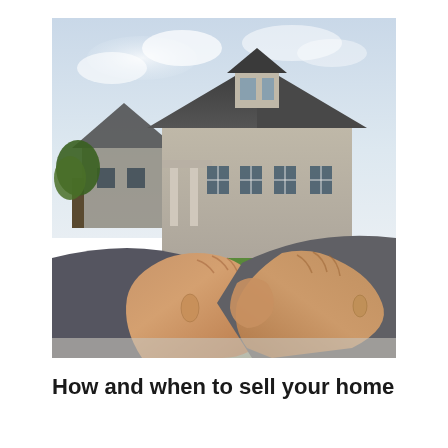[Figure (photo): Two people shaking hands in the foreground (business deal/agreement), with a large two-story residential house in the background. One person wears a dark grey suit with a white shirt cuff visible; the other wears a dark grey jacket. The house is light grey/beige brick with a dark roof, multiple windows, and green lawn and trees visible.]
How and when to sell your home